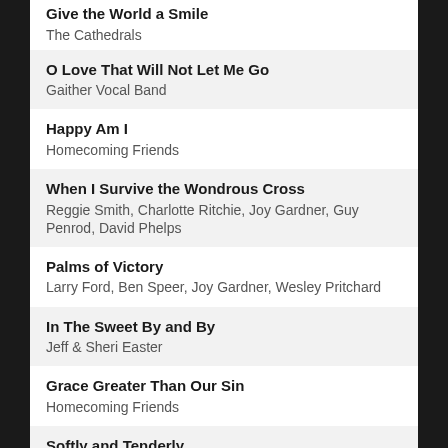Give the World a Smile
The Cathedrals
O Love That Will Not Let Me Go
Gaither Vocal Band
Happy Am I
Homecoming Friends
When I Survive the Wondrous Cross
Reggie Smith, Charlotte Ritchie, Joy Gardner, Guy Penrod, David Phelps
Palms of Victory
Larry Ford, Ben Speer, Joy Gardner, Wesley Pritchard
In The Sweet By and By
Jeff & Sheri Easter
Grace Greater Than Our Sin
Homecoming Friends
Softly and Tenderly
Cynthia Clawson
I'll Fly Away
Karen Peck, Guy Penrod, Ann Downing
What a Friend We Have in Jesus
Larry Ford
Bless that Wonderful Name